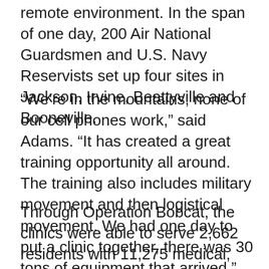remote environment. In the span of one day, 200 Air National Guardsmen and U.S. Navy Reservists set up four sites in Jackson, Irvine, Beattyville and Booneville.
“We’re in the mountains, none of our cell phones work,” said Adams. “It has created a great training opportunity all around. The training also includes military movement and then logistical movement. We had one day to put a clinic together, there was 30 tons of equipment that arrived.”
Through Operation Bobcat, the clinics were able to serve 2,662 residents with 11,275 medical, dental, and optometry procedures, including 1,457 pairs of prescription eyeglasses. The economic impact to the community was more than $1 million ($1,002,688).